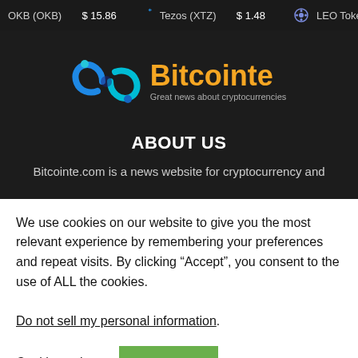OKB (OKB) $15.86   Tezos (XTZ) $1.48   LEO Token
[Figure (logo): Bitcointe logo with blue circular icon and orange text 'Bitcointe' with tagline 'Great news about cryptocurrencies']
ABOUT US
Bitcointe.com is a news website for cryptocurrency and
We use cookies on our website to give you the most relevant experience by remembering your preferences and repeat visits. By clicking “Accept”, you consent to the use of ALL the cookies.
Do not sell my personal information.
Cookie settings   ACCEPT